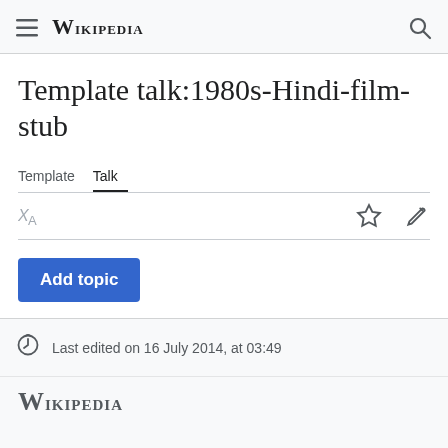Wikipedia
Template talk:1980s-Hindi-film-stub
Template  Talk
Add topic
There are no discussions on this page.
Last edited on 16 July 2014, at 03:49
Wikipedia